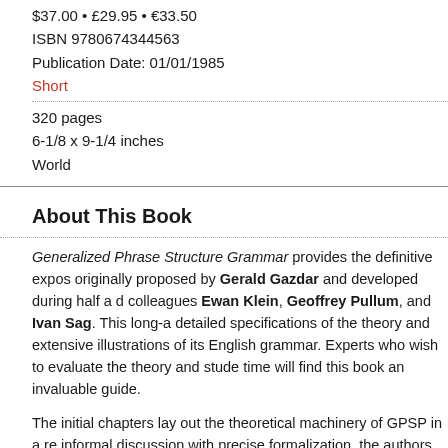$37.00 • £29.95 • €33.50
ISBN 9780674344563
Publication Date: 01/01/1985
Short
320 pages
6-1/8 x 9-1/4 inches
World
About This Book
Generalized Phrase Structure Grammar provides the definitive expos originally proposed by Gerald Gazdar and developed during half a d colleagues Ewan Klein, Geoffrey Pullum, and Ivan Sag. This long-a detailed specifications of the theory and extensive illustrations of its English grammar. Experts who wish to evaluate the theory and stude time will find this book an invaluable guide.
The initial chapters lay out the theoretical machinery of GPSP in a re informal discussion with precise formalization, the authors describe grammatical system, including a complete theory of syntactic feature rules, and feature instantiation principles. The book then shows just